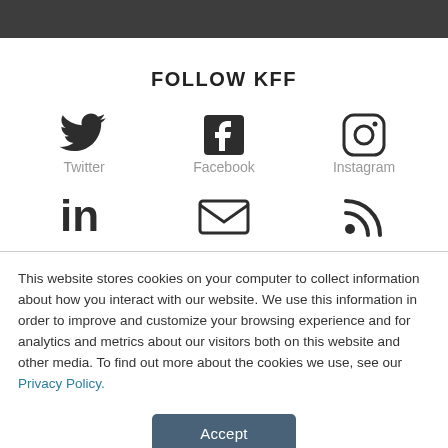FOLLOW KFF
[Figure (infographic): Three social media icons in a row: Twitter bird icon, Facebook 'f' icon, Instagram camera icon, each with label below]
[Figure (infographic): Three social media icons in a row: LinkedIn 'in' icon, Email envelope icon, RSS feed icon]
This website stores cookies on your computer to collect information about how you interact with our website. We use this information in order to improve and customize your browsing experience and for analytics and metrics about our visitors both on this website and other media. To find out more about the cookies we use, see our Privacy Policy.
Accept